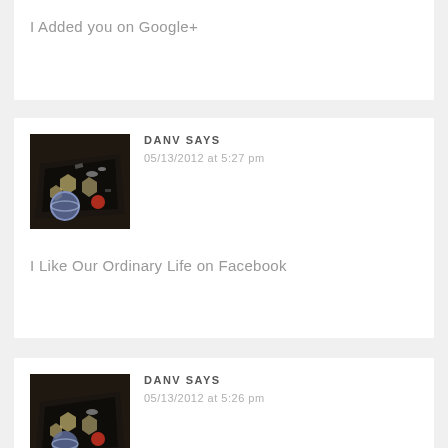I Added you on Google+
DANV SAYS
05/13/2012 at 5:27 pm
[Figure (photo): Photo of a board game tabletop scene with miniatures, black game board, spacecraft figures, and colorful tokens]
I Like Our Ordinary Life on Facebook
DANV SAYS
05/13/2012 at 5:26 pm
[Figure (photo): Similar board game tabletop photo, partially visible at bottom of page]